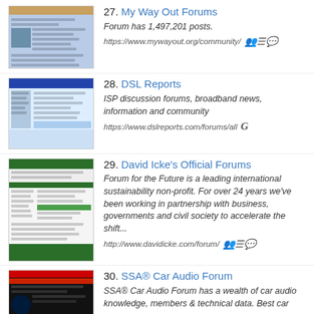27. My Way Out Forums
Forum has 1,497,201 posts.
https://www.mywayout.org/community/
28. DSL Reports
ISP discussion forums, broadband news, information and community
https://www.dslreports.com/forums/all
29. David Icke's Official Forums
Forum for the Future is a leading international sustainability non-profit. For over 24 years we've been working in partnership with business, governments and civil society to accelerate the shift...
http://www.davidicke.com/forum/
30. SSA® Car Audio Forum
SSA® Car Audio Forum has a wealth of car audio knowledge, members & technical data. Best car